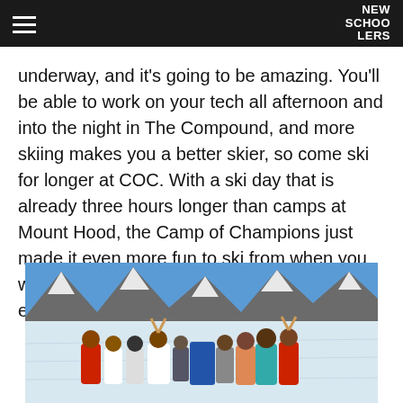NEW SCHOOLERS
underway, and it's going to be amazing. You'll be able to work on your tech all afternoon and into the night in The Compound, and more skiing makes you a better skier, so come ski for longer at COC. With a ski day that is already three hours longer than camps at Mount Hood, the Camp of Champions just made it even more fun to ski from when you wake up till when you go to sleep from exhaustion.
[Figure (photo): Group of skiers posing together on a snowy mountain slope with rocky peaks and blue sky in the background.]